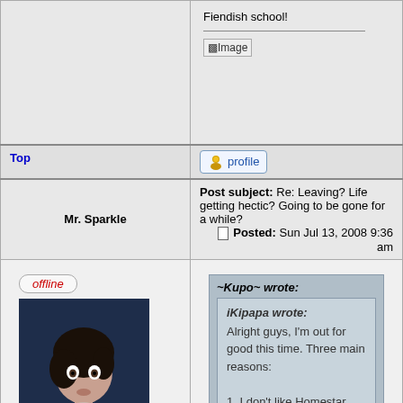Fiendish school!
[Figure (photo): Broken image placeholder labeled [Image]]
Top
profile
Post subject: Re: Leaving? Life getting hectic? Going to be gone for a while?
Posted: Sun Jul 13, 2008 9:36 am
Mr. Sparkle
offline
[Figure (photo): Avatar photo of a young woman with dark hair looking surprised]
Joined: Fri Jan 14, 2005 10:25 pm
Posts: 2439
Location: Empire of Sparkletania
~Kupo~ wrote:
iKipapa wrote:
Alright guys, I'm out for good this time. Three main reasons: 1. I don't like Homestar anymore. I've tried getting back into it, but can't.
Hasn't stopped me.